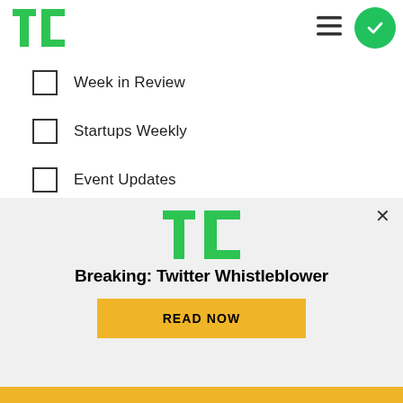TechCrunch logo and navigation
Week in Review
Startups Weekly
Event Updates
Advertising Updates
TechCrunch+ Announcements
TechCrunch+ Events
TechCrunch+ Roundup
[Figure (screenshot): TechCrunch promotional banner with logo, headline 'Breaking: Twitter Whistleblower', and a yellow READ NOW button]